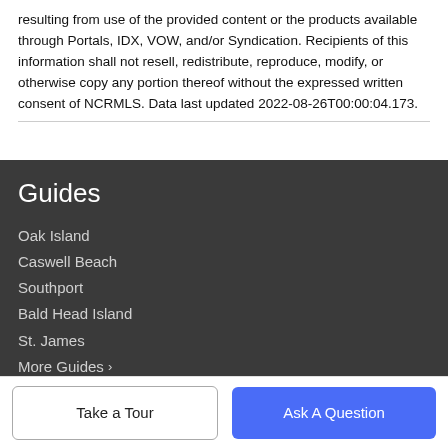resulting from use of the provided content or the products available through Portals, IDX, VOW, and/or Syndication. Recipients of this information shall not resell, redistribute, reproduce, modify, or otherwise copy any portion thereof without the expressed written consent of NCRMLS. Data last updated 2022-08-26T00:00:04.173.
Guides
Oak Island
Caswell Beach
Southport
Bald Head Island
St. James
More Guides ›
Company
Take a Tour
Ask A Question